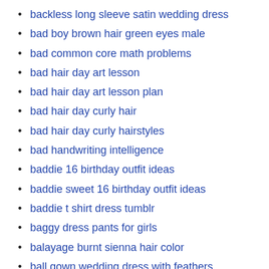backless long sleeve satin wedding dress
bad boy brown hair green eyes male
bad common core math problems
bad hair day art lesson
bad hair day art lesson plan
bad hair day curly hair
bad hair day curly hairstyles
bad handwriting intelligence
baddie 16 birthday outfit ideas
baddie sweet 16 birthday outfit ideas
baddie t shirt dress tumblr
baggy dress pants for girls
balayage burnt sienna hair color
ball gown wedding dress with feathers
ballet dance for men